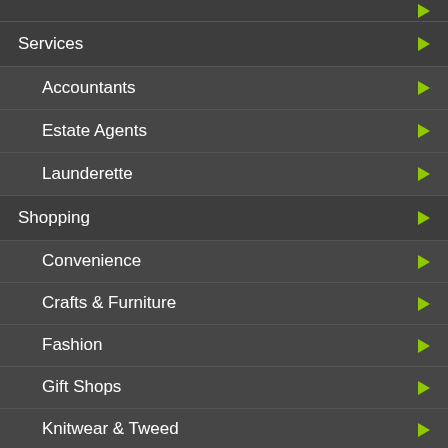Services
Accountants
Estate Agents
Launderette
Shopping
Convenience
Crafts & Furniture
Fashion
Gift Shops
Knitwear & Tweed
Pharmacy